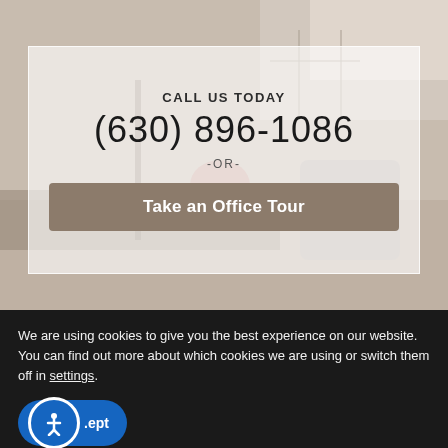[Figure (photo): Blurred office interior background showing reception desk, chair, and window with natural light]
CALL US TODAY
(630) 896-1086
-OR-
Take an Office Tour
We are using cookies to give you the best experience on our website.
You can find out more about which cookies we are using or switch them off in settings.
.ept